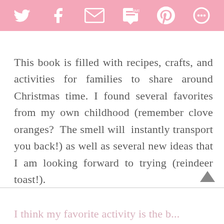[Social share bar with Twitter, Facebook, Email, SMS, Pinterest, and More icons]
This book is filled with recipes, crafts, and activities for families to share around Christmas time. I found several favorites from my own childhood (remember clove oranges? The smell will instantly transport you back!) as well as several new ideas that I am looking forward to trying (reindeer toast!).
I think my favorite activity is the b...